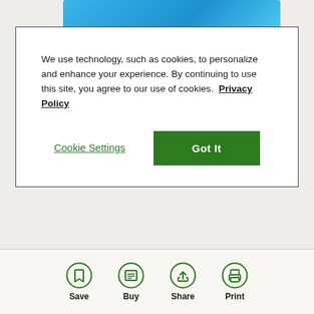[Figure (screenshot): Partial blue banner/header image at top of page]
We use technology, such as cookies, to personalize and enhance your experience. By continuing to use this site, you agree to our use of cookies. Privacy Policy
Cookie Settings
Got It
Ground Beef
1 pound
Beef Broth Or Water
¼ cup
Save
Buy
Share
Print